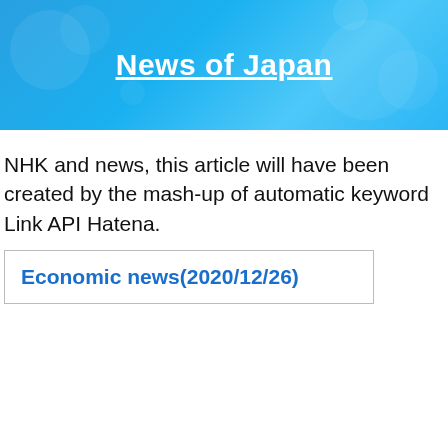News of Japan
NHK and news, this article will have been created by the mash-up of automatic keyword Link API Hatena.
Economic news(2020/12/26)